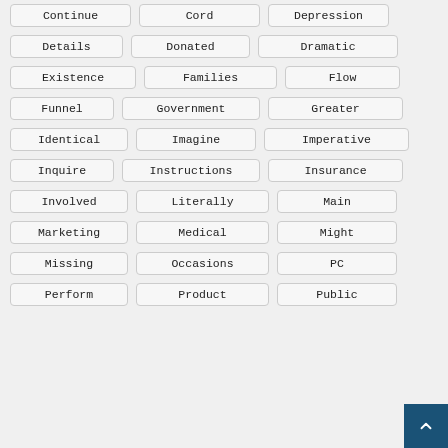Continue
Cord
Depression
Details
Donated
Dramatic
Existence
Families
Flow
Funnel
Government
Greater
Identical
Imagine
Imperative
Inquire
Instructions
Insurance
Involved
Literally
Main
Marketing
Medical
Might
Missing
Occasions
PC
Perform
Product
Public